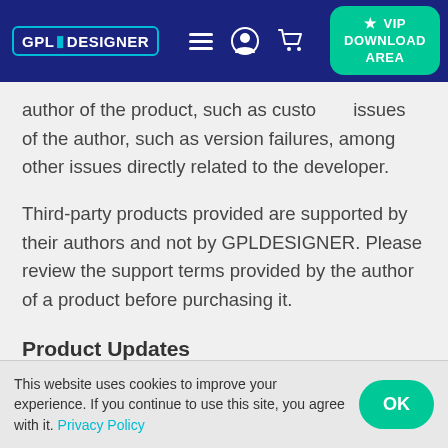[Figure (screenshot): GPL Designer website navigation bar with logo, hamburger menu, user icon, cart icon, and green VIP Download Area button]
author of the product, such as custo... issues of the author, such as version failures, among other issues directly related to the developer.
Third-party products provided are supported by their authors and not by GPLDESIGNER. Please review the support terms provided by the author of a product before purchasing it.
Product Updates
As soon as we are notified about a product update (user or author email), we download the product,
This website uses cookies to improve your experience. If you continue to use this site, you agree with it. Privacy Policy